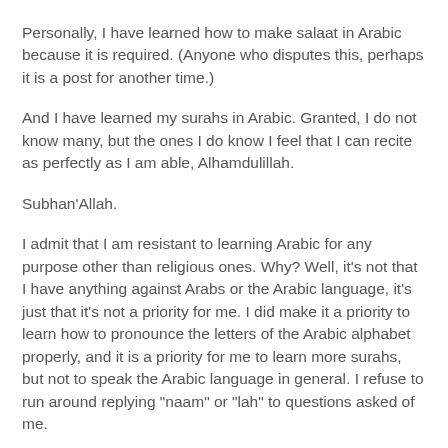Personally, I have learned how to make salaat in Arabic because it is required. (Anyone who disputes this, perhaps it is a post for another time.)
And I have learned my surahs in Arabic. Granted, I do not know many, but the ones I do know I feel that I can recite as perfectly as I am able, Alhamdulillah.
Subhan'Allah.
I admit that I am resistant to learning Arabic for any purpose other than religious ones. Why? Well, it's not that I have anything against Arabs or the Arabic language, it's just that it's not a priority for me. I did make it a priority to learn how to pronounce the letters of the Arabic alphabet properly, and it is a priority for me to learn more surahs, but not to speak the Arabic language in general. I refuse to run around replying "naam" or "lah" to questions asked of me.
Perhaps this resistance has roots in my childhood. My father was Jewish, and my mother was Catholic.